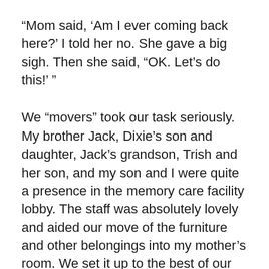“Mom said, ‘Am I ever coming back here?’ I told her no. She gave a big sigh. Then she said, “OK. Let’s do this!’ ”
We “movers” took our task seriously. My brother Jack, Dixie’s son and daughter, Jack’s grandson, Trish and her son, and my son and I were quite a presence in the memory care facility lobby. The staff was absolutely lovely and aided our move of the furniture and other belongings into my mother’s room. We set it up to the best of our ability and awaited her arrival–which was accomplished in tears. Of joy, actually. I think my mother was so relieved to see all of us on the other side of the locked